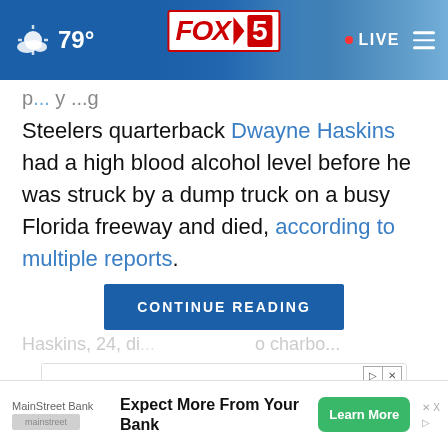79° FOX 5 LIVE
Steelers quarterback Dwayne Haskins had a high blood alcohol level before he was struck by a dump truck on a busy Florida freeway and died, according to multiple reports
CONTINUE READING
Haskins, 24, di... o charbo...
[Figure (advertisement): Doctor of Medical Sciences - FLEXIBLE FIT FOR WORKING PAs advertisement with woman in white coat on purple/violet background with orange bracket design]
MainStreet Bank Expect More From Your Bank — Learn More